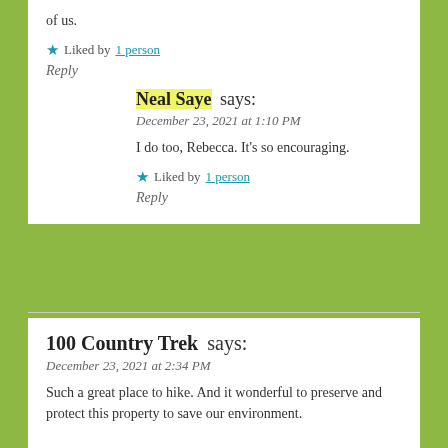of us.
Liked by 1 person
Reply
Neal Saye says:
December 23, 2021 at 1:10 PM
I do too, Rebecca. It's so encouraging.
Liked by 1 person
Reply
100 Country Trek says:
December 23, 2021 at 2:34 PM
Such a great place to hike. And it wonderful to preserve and protect this property to save our environment.